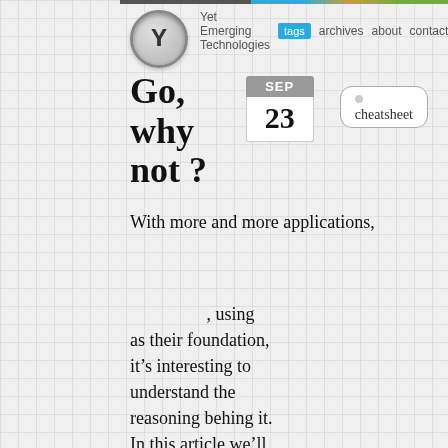Yet Emerging Technologies | tags | archives | about | contact
Go, why not ?
SEP 23
cheatsheet
With more and more applications,

, using as their foundation, it’s interesting to understand the reasoning behing it. In this article we’ll also share some pointers and cheatsheet to learn